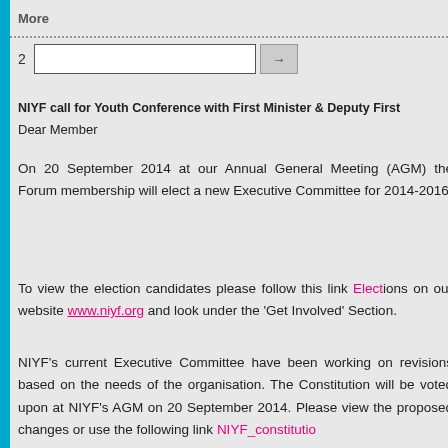More
2 [input field] →
NIYF call for Youth Conference with First Minister & Deputy First Minister
Dear Member
On 20 September 2014 at our Annual General Meeting (AGM) the Forum membership will elect a new Executive Committee for 2014-2016
To view the election candidates please follow this link Elections on our website www.niyf.org and look under the 'Get Involved' Section.
NIYF's current Executive Committee have been working on revisions based on the needs of the organisation. The Constitution will be voted upon at NIYF's AGM on 20 September 2014. Please view the proposed changes or use the following link NIYF_constitutio...